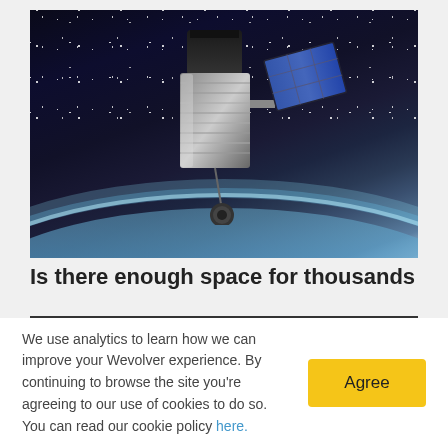[Figure (photo): Hubble Space Telescope orbiting above Earth, shown against a dark starry space background with Earth's curved horizon visible at the bottom of the image. The telescope has a cylindrical main body with solar panel arrays extending to the right.]
Is there enough space for thousands of new
We use analytics to learn how we can improve your Wevolver experience. By continuing to browse the site you're agreeing to our use of cookies to do so. You can read our cookie policy here.